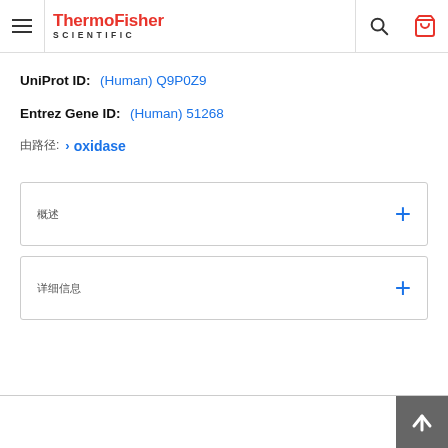ThermoFisher SCIENTIFIC
UniProt ID: (Human) Q9P0Z9
Entrez Gene ID: (Human) 51268
由路径: > oxidase
概述 +
详细信息 +